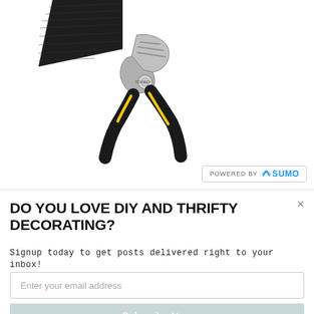[Figure (photo): Product photo showing a black object (top-left, partially cropped) and a pair of pliers with black and yellow handles (Stanley brand), photographed on white background. A 'Powered by SUMO' badge appears at the bottom right of the image area.]
×
DO YOU LOVE DIY AND THRIFTY DECORATING?
Signup today to get posts delivered right to your inbox!
Enter your email address
Subscribe Now